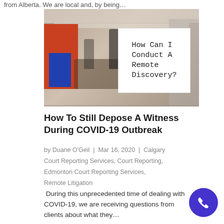from Alberta. We are local and, by being…
[Figure (photo): Person holding a white sign reading 'How Can I Conduct A Remote Discovery?' in a blurred conference room setting with artwork on the wall.]
How To Still Depose A Witness During COVID-19 Outbreak
by Duane O'Geil | Mar 16, 2020 | Calgary Court Reporting Services, Court Reporting, Edmonton Court Reporting Services, Remote Litigation
During this unprecedented time of dealing with COVID-19, we are receiving questions from clients about what they…